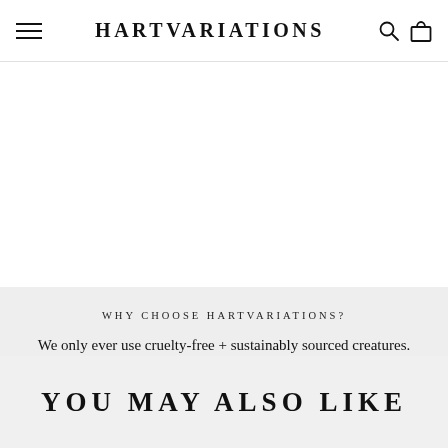HARTVARIATIONS
WHY CHOOSE HARTVARIATIONS?
We only ever use cruelty-free + sustainably sourced creatures. Nature is precious & we understand why you're here -> to celebrate the beauty of the Earth through quality handmade talismans.
YOU MAY ALSO LIKE